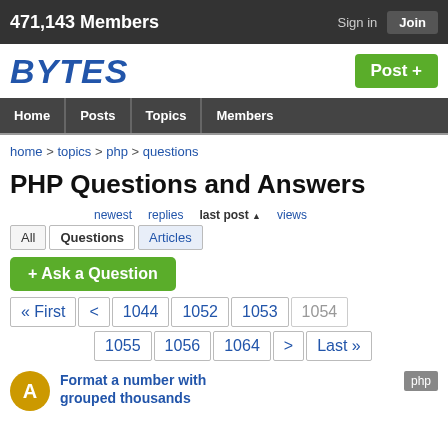471,143 Members   Sign in  Join
[Figure (logo): BYTES logo in blue italic bold text with Post + green button]
Home  Posts  Topics  Members
home > topics > php > questions
PHP Questions and Answers
newest  replies  last post ▲  views
All  Questions  Articles
+ Ask a Question
« First  <  1044  1052  1053  1054  1055  1056  1064  >  Last »
Format a number with grouped thousands  php